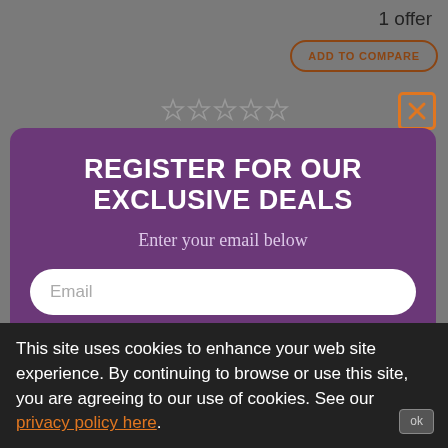1 offer
ADD TO COMPARE
[Figure (other): Five empty star rating icons]
[Figure (other): Orange close/X button icon]
REGISTER FOR OUR EXCLUSIVE DEALS
Enter your email below
Email
Sign up
No, I don't want it
This site uses cookies to enhance your web site experience. By continuing to browse or use this site, you are agreeing to our use of cookies. See our privacy policy here.